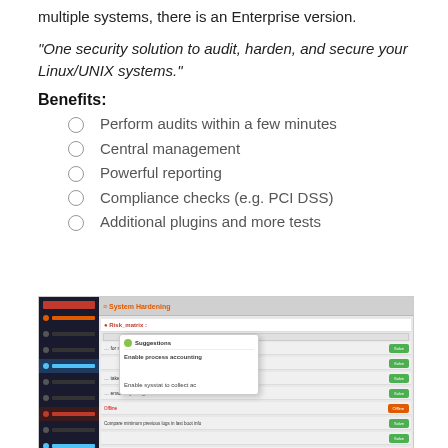multiple systems, there is an Enterprise version.
"One security solution to audit, harden, and secure your Linux/UNIX systems."
Benefits:
Perform audits within a few minutes
Central management
Powerful reporting
Compliance checks (e.g. PCI DSS)
Additional plugins and more tests
[Figure (screenshot): Screenshot of a system hardening/auditing web application interface showing a sidebar navigation, a main content area with audit results rows and green action buttons, and a popup labeled 'Suggestions' with text 'Enable process accounting' and 'Enable sysstat to collect ac'.]